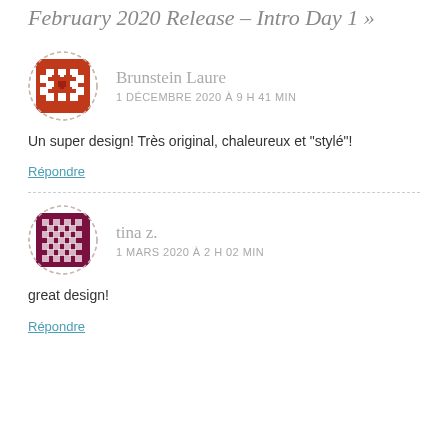February 2020 Release – Intro Day 1 »
Brunstein Laure
1 DÉCEMBRE 2020 À 9 H 41 MIN
Un super design! Très original, chaleureux et "stylé"!
Répondre
tina z.
1 MARS 2020 À 2 H 02 MIN
great design!
Répondre